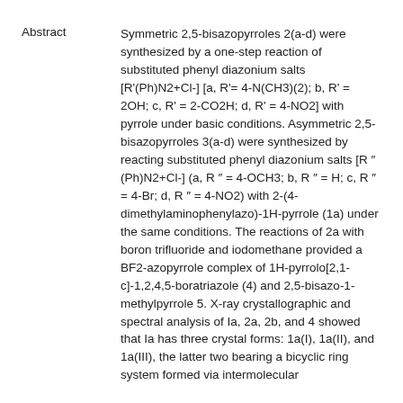Abstract	Symmetric 2,5-bisazopyrroles 2(a-d) were synthesized by a one-step reaction of substituted phenyl diazonium salts [R'(Ph)N2+Cl-] [a, R'= 4-N(CH3)(2); b, R' = 2OH; c, R' = 2-CO2H; d, R' = 4-NO2] with pyrrole under basic conditions. Asymmetric 2,5-bisazopyrroles 3(a-d) were synthesized by reacting substituted phenyl diazonium salts [R ″(Ph)N2+Cl-] (a, R ″ = 4-OCH3; b, R ″ = H; c, R ″ = 4-Br; d, R ″ = 4-NO2) with 2-(4-dimethylaminophenylazo)-1H-pyrrole (1a) under the same conditions. The reactions of 2a with boron trifluoride and iodomethane provided a BF2-azopyrrole complex of 1H-pyrrolo[2,1-c]-1,2,4,5-boratriazole (4) and 2,5-bisazo-1-methylpyrrole 5. X-ray crystallographic and spectral analysis of Ia, 2a, 2b, and 4 showed that Ia has three crystal forms: 1a(I), 1a(II), and 1a(III), the latter two bearing a bicyclic ring system formed via intermolecular